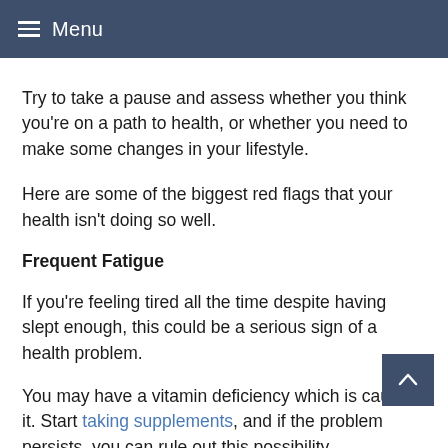Menu
Try to take a pause and assess whether you think you're on a path to health, or whether you need to make some changes in your lifestyle.
Here are some of the biggest red flags that your health isn't doing so well.
Frequent Fatigue
If you're feeling tired all the time despite having slept enough, this could be a serious sign of a health problem.
You may have a vitamin deficiency which is causing it. Start taking supplements, and if the problem persists, you can rule out this possibility.
Talk to your doctor about what else could be causing your